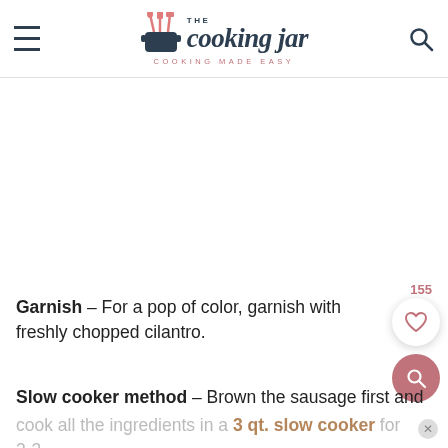THE cooking jar — COOKING MADE EASY
Garnish – For a pop of color, garnish with freshly chopped cilantro.
Slow cooker method – Brown the sausage first and cook all the ingredients in a 3 qt. slow cooker for 2-3 hours on high or 4-5 hours on low. Keep on the warm...